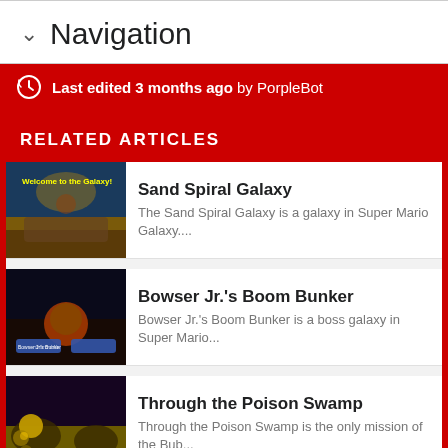Navigation
Last edited 3 months ago by PorpleBot
RELATED ARTICLES
Sand Spiral Galaxy
The Sand Spiral Galaxy is a galaxy in Super Mario Galaxy....
Bowser Jr.'s Boom Bunker
Bowser Jr.'s Boom Bunker is a boss galaxy in Super Mario...
Through the Poison Swamp
Through the Poison Swamp is the only mission of the Bub...